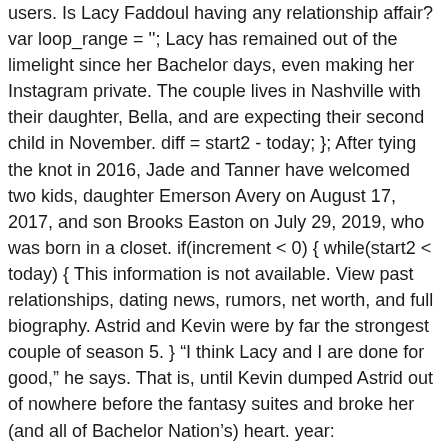users. Is Lacy Faddoul having any relationship affair? var loop_range = ''; Lacy has remained out of the limelight since her Bachelor days, even making her Instagram private. The couple lives in Nashville with their daughter, Bella, and are expecting their second child in November. diff = start2 - today; }; After tying the knot in 2016, Jade and Tanner have welcomed two kids, daughter Emerson Avery on August 17, 2017, and son Brooks Easton on July 29, 2019, who was born in a closet. if(increment < 0) { while(start2 < today) { This information is not available. View past relationships, dating news, rumors, net worth, and full biography. Astrid and Kevin were by far the strongest couple of season 5. } "I think Lacy and I are done for good," he says. That is, until Kevin dumped Astrid out of nowhere before the fantasy suites and broke her (and all of Bachelor Nation's) heart. year: 365.25*1000*60*60*24, month: 30.41666667*1000*60*60*24, week: 7*1000*60*60*24, day: 1000*60*60*24, hour: 1000*60*60, minute: 1000*60, second: 1000,